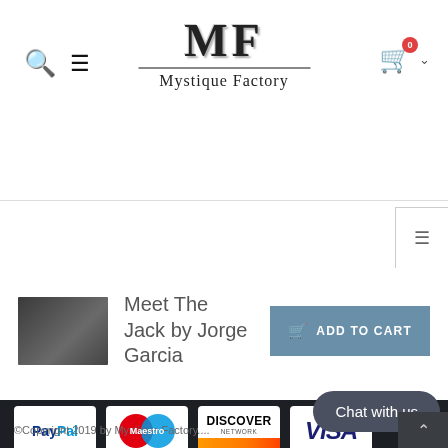Mystique Factory — MF logo header with search, menu, and cart icons
[Figure (logo): Mystique Factory logo with stylized MF letters and store name]
Meet The Jack by Jorge Garcia
ADD TO CART
[Figure (infographic): Payment method logos: PayPal, Maestro, Discover Network, Visa]
[Figure (other): Social media buttons for Facebook and Twitter]
©Copyright 2019 by Mystique Factory...
Chat with us